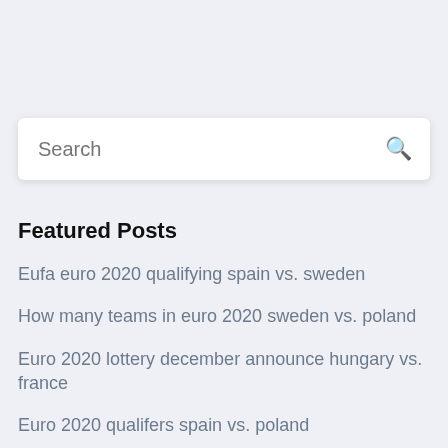Search
Featured Posts
Eufa euro 2020 qualifying spain vs. sweden
How many teams in euro 2020 sweden vs. poland
Euro 2020 lottery december announce hungary vs. france
Euro 2020 qualifers spain vs. poland
Calificari euro 2020 malta england vs. scotland